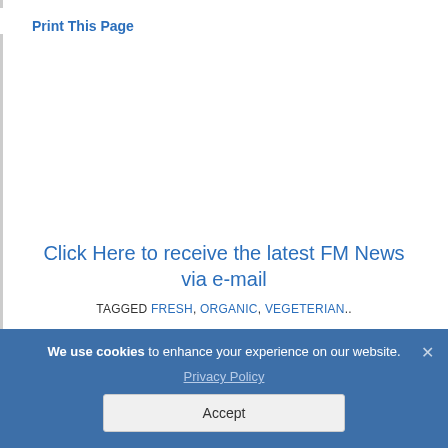Print This Page
Click Here to receive the latest FM News via e-mail
TAGGED FRESH, ORGANIC, VEGETERIAN..
PREVIOUS: ‹ Self-Talk Can Help Your Walk With
We use cookies to enhance your experience on our website. Privacy Policy Accept